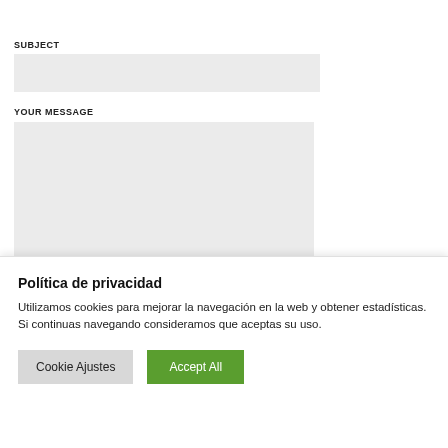mariusuzoni
SUBJECT
YOUR MESSAGE
Política de privacidad
Utilizamos cookies para mejorar la navegación en la web y obtener estadísticas. Si continuas navegando consideramos que aceptas su uso.
Cookie Ajustes | Accept All